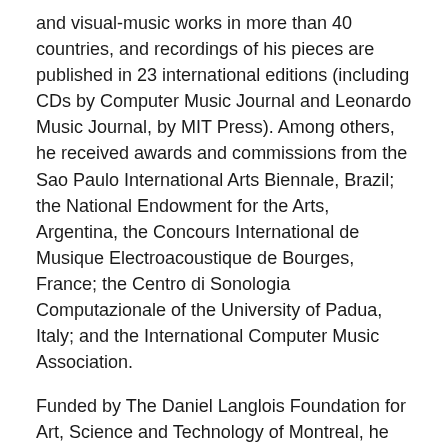and visual-music works in more than 40 countries, and recordings of his pieces are published in 23 international editions (including CDs by Computer Music Journal and Leonardo Music Journal, by MIT Press). Among others, he received awards and commissions from the Sao Paulo International Arts Biennale, Brazil; the National Endowment for the Arts, Argentina, the Concours International de Musique Electroacoustique de Bourges, France; the Centro di Sonologia Computazionale of the University of Padua, Italy; and the International Computer Music Association.
Funded by The Daniel Langlois Foundation for Art, Science and Technology of Montreal, he created the largest collection publicly available of Latin American Electroacoustic Music, including a database with over 2,000 recordings of works digitally preserved, composed 1957-2007 by almost 400 composers, and